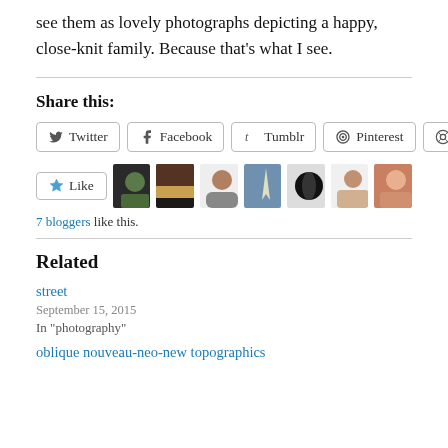see them as lovely photographs depicting a happy, close-knit family. Because that's what I see.
Share this:
Twitter | Facebook | Tumblr | Pinterest | Reddit
[Figure (other): Like button with 7 blogger avatars]
7 bloggers like this.
Related
street
September 15, 2015
In "photography"
oblique nouveau-neo-new topographics